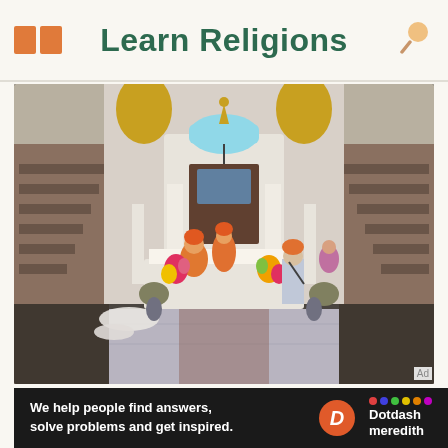Learn Religions
[Figure (photo): Interior of a Sikh Gurdwara showing the Darbar Sahib (main hall) with the Guru Granth Sahib under a white ornate canopy. People in orange and white clothing stand at the altar with flower arrangements. Marble floors, staircases on both sides.]
Ad
We help people find answers, solve problems and get inspired.